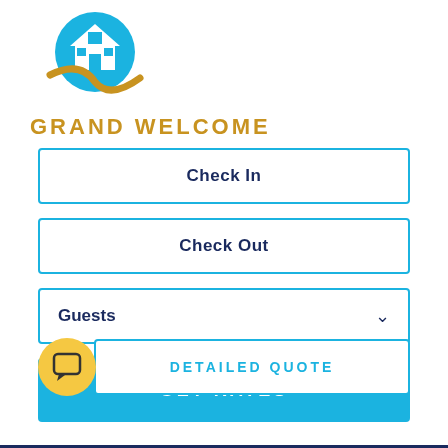[Figure (logo): Grand Welcome logo: circular icon with house and sky-blue arc, gold curved swoosh underneath, with brand name GRAND WELCOME in gold/amber bold letters]
Check In
Check Out
Guests
GET RATES
[Figure (illustration): Yellow circular chat bubble icon]
DETAILED QUOTE